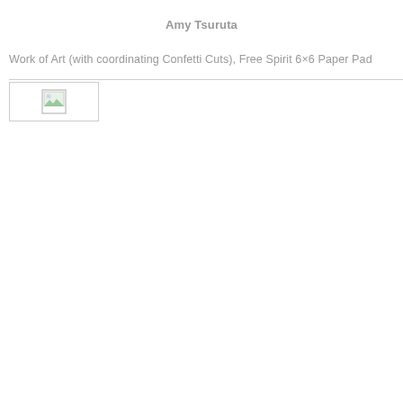Amy Tsuruta
Work of Art (with coordinating Confetti Cuts), Free Spirit 6×6 Paper Pad
[Figure (photo): Broken image placeholder indicating a missing photograph related to Amy Tsuruta's Work of Art with Confetti Cuts and Free Spirit 6x6 Paper Pad]